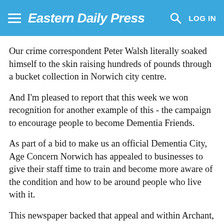Eastern Daily Press
Our crime correspondent Peter Walsh literally soaked himself to the skin raising hundreds of pounds through a bucket collection in Norwich city centre.
And I'm pleased to report that this week we won recognition for another example of this - the campaign to encourage people to become Dementia Friends.
As part of a bid to make us an official Dementia City, Age Concern Norwich has appealed to businesses to give their staff time to train and become more aware of the condition and how to be around people who live with it.
This newspaper backed that appeal and within Archant, our publishers, we made sure 50 members of staff became Dementia Friends.